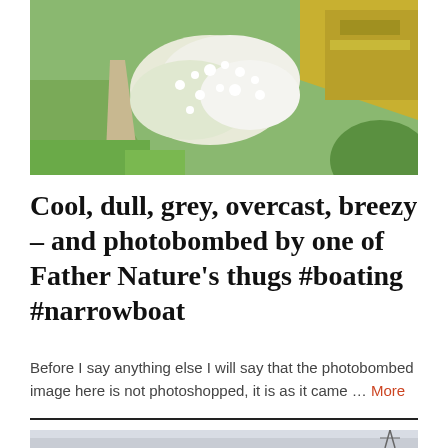[Figure (photo): Aerial or elevated photo showing a grass path alongside flowering white plants and what appears to be a yellow narrowboat or vehicle partially visible in upper right corner]
Cool, dull, grey, overcast, breezy – and photobombed by one of Father Nature's thugs #boating #narrowboat
Before I say anything else I will say that the photobombed image here is not photoshopped, it is as it came … More
[Figure (photo): Overcast grey sky photo with what appears to be an electricity pylon or tower structure visible on the right side]